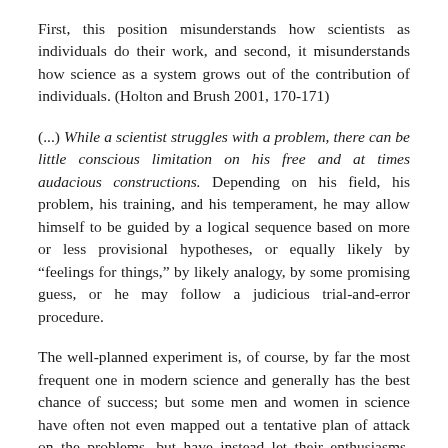First, this position misunderstands how scientists as individuals do their work, and second, it misunderstands how science as a system grows out of the contribution of individuals. (Holton and Brush 2001, 170-171)
(...) While a scientist struggles with a problem, there can be little conscious limitation on his free and at times audacious constructions. Depending on his field, his problem, his training, and his temperament, he may allow himself to be guided by a logical sequence based on more or less provisional hypotheses, or equally likely by “feelings for things,” by likely analogy, by some promising guess, or he may follow a judicious trial-and-error procedure.
The well-planned experiment is, of course, by far the most frequent one in modern science and generally has the best chance of success; but some men and women in science have often not even mapped out a tentative plan of attack on the problems, but have instead let their enthusiasms, their